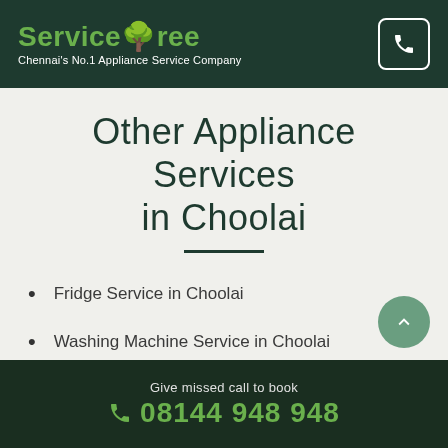ServiceTree – Chennai's No.1 Appliance Service Company
Other Appliance Services in Choolai
Fridge Service in Choolai
Washing Machine Service in Choolai
Microwave Oven Service in Choolai
Give missed call to book 08144 948 948